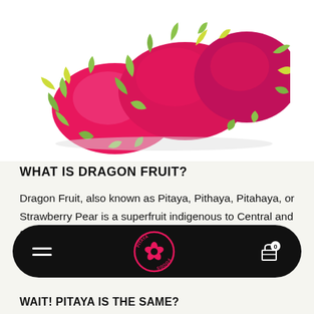[Figure (photo): Three bright pink/magenta dragon fruits with green scaly skin piled together on a white background]
WHAT IS DRAGON FRUIT?
Dragon Fruit, also known as Pitaya, Pithaya, Pitahaya, or Strawberry Pear is a superfruit indigenous to Central and South America that is now grown all over the world.
[Figure (logo): Pitaya Foods circular logo in pink on black navigation bar, with hamburger menu icon on left and cart icon with 0 badge on right]
WAIT! PITAYA IS THE SAME?